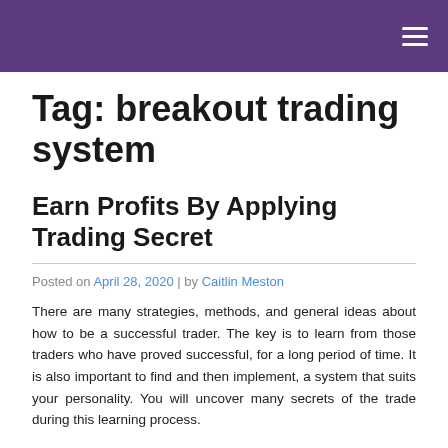Tag: breakout trading system
Earn Profits By Applying Trading Secret
Posted on April 28, 2020 | by Caitlin Meston
There are many strategies, methods, and general ideas about how to be a successful trader. The key is to learn from those traders who have proved successful, for a long period of time. It is also important to find and then implement, a system that suits your personality. You will uncover many secrets of the trade during this learning process.